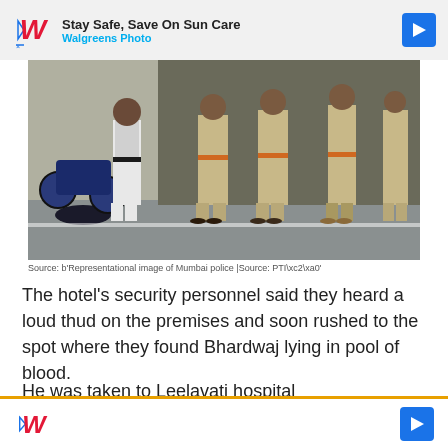[Figure (other): Walgreens Photo advertisement banner at top: 'Stay Safe, Save On Sun Care' with Walgreens logo and navigation arrow]
[Figure (photo): Representational image of Mumbai police officers standing in a line on a street, with a motorcycle visible on the left]
Source: b'Representational image of Mumbai police |Source: PTI\xc2\xa0'
The hotel's security personnel said they heard a loud thud on the premises and soon rushed to the spot where they found Bhardwaj lying in pool of blood.
He was taken to Leelavati hospital where doctors declared him brought dead.
Bhardwaj had submitted proper documents before checki him.
[Figure (other): Walgreens Photo advertisement banner at bottom with logo and navigation arrow]